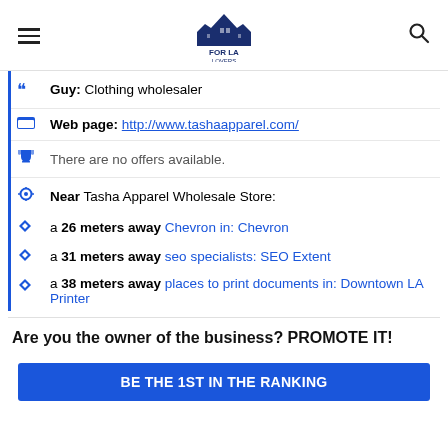FOR LA LOVERS
Guy: Clothing wholesaler
Web page: http://www.tashaapparel.com/
There are no offers available.
Near Tasha Apparel Wholesale Store:
a 26 meters away Chevron in: Chevron
a 31 meters away seo specialists: SEO Extent
a 38 meters away places to print documents in: Downtown LA Printer
Are you the owner of the business? PROMOTE IT!
BE THE 1ST IN THE RANKING